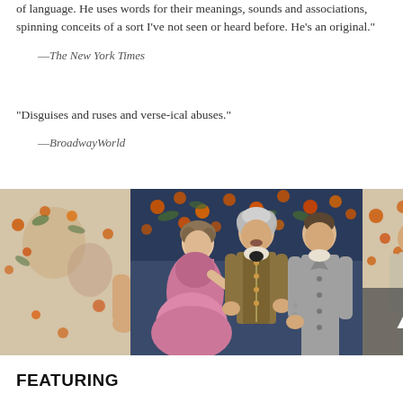of language. He uses words for their meanings, sounds and associations, spinning conceits of a sort I've not seen or heard before. He's an original." —The New York Times
"Disguises and ruses and verse-ical abuses." —BroadwayWorld
[Figure (photo): Theater production photo showing three actors in period costumes: a woman in a pink dress, an older man in an ornate vest, and a younger man in a gray coat, standing together on stage with a floral backdrop.]
FEATURING